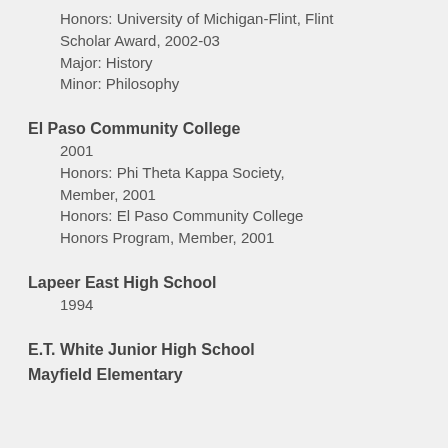Honors: University of Michigan-Flint, Flint Scholar Award, 2002-03
Major: History
Minor: Philosophy
El Paso Community College
2001
Honors: Phi Theta Kappa Society, Member, 2001
Honors: El Paso Community College Honors Program, Member, 2001
Lapeer East High School
1994
E.T. White Junior High School
Mayfield Elementary